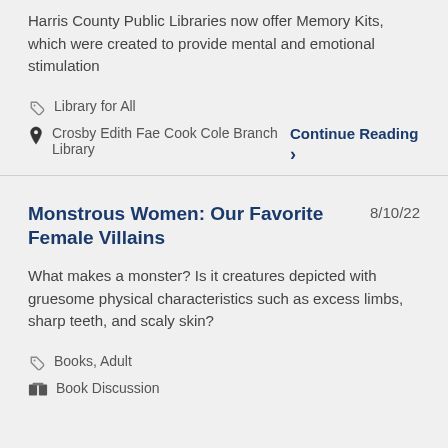Harris County Public Libraries now offer Memory Kits, which were created to provide mental and emotional stimulation
Library for All
Crosby Edith Fae Cook Cole Branch Library
Continue Reading
Monstrous Women: Our Favorite Female Villains
8/10/22
What makes a monster? Is it creatures depicted with gruesome physical characteristics such as excess limbs, sharp teeth, and scaly skin?
Books, Adult
Book Discussion